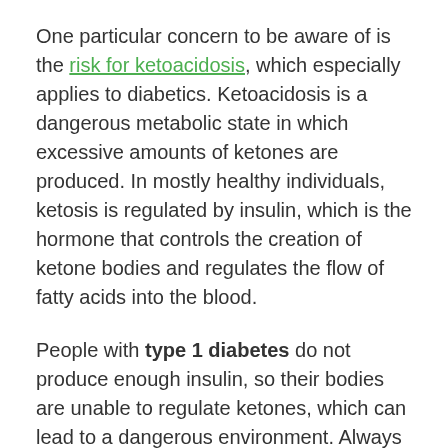One particular concern to be aware of is the risk for ketoacidosis, which especially applies to diabetics. Ketoacidosis is a dangerous metabolic state in which excessive amounts of ketones are produced. In mostly healthy individuals, ketosis is regulated by insulin, which is the hormone that controls the creation of ketone bodies and regulates the flow of fatty acids into the blood.
People with type 1 diabetes do not produce enough insulin, so their bodies are unable to regulate ketones, which can lead to a dangerous environment. Always consult with your doctor if you have diabetes before changing your diet, and